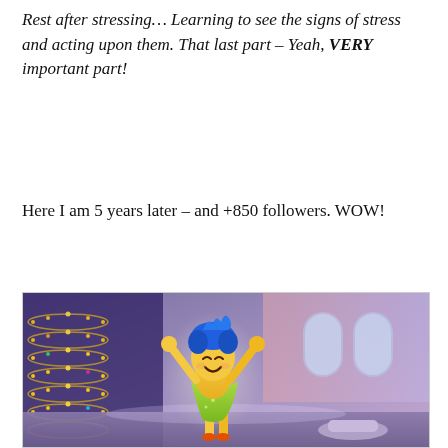Rest after stressing… Learning to see the signs of stress and acting upon them. That last part – Yeah, VERY important part!
Here I am 5 years later – and +850 followers. WOW!
[Figure (illustration): Animated character Joy from Inside Out movie, with blue hair and green dress, arms raised in celebration, set inside a colorful animated room with glowing lights and arched windows.]